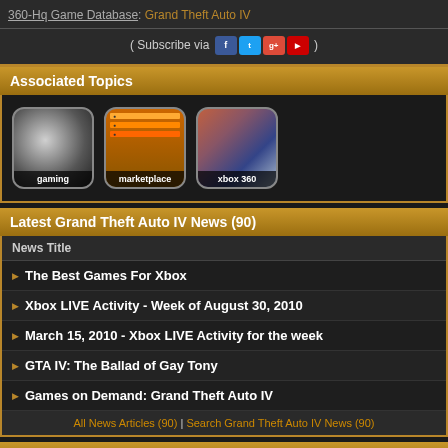360-Hq Game Database: Grand Theft Auto IV
( Subscribe via [social icons] )
Associated Topics
[Figure (other): Three topic icon boxes: gaming, marketplace, xbox 360]
Latest Grand Theft Auto IV News (90)
| News Title |
| --- |
| The Best Games For Xbox |
| Xbox LIVE Activity - Week of August 30, 2010 |
| March 15, 2010 - Xbox LIVE Activity for the week |
| GTA IV: The Ballad of Gay Tony |
| Games on Demand: Grand Theft Auto IV |
All News Articles (90) | Search Grand Theft Auto IV News (90)
Latest Grand Theft Auto IV Screenshots (64)
[Figure (photo): Four screenshot thumbnails from Grand Theft Auto IV]